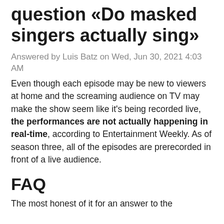Top best answers to the question «Do masked singers actually sing»
Answered by Luis Batz on Wed, Jun 30, 2021 4:03 AM
Even though each episode may be new to viewers at home and the screaming audience on TV may make the show seem like it's being recorded live, the performances are not actually happening in real-time, according to Entertainment Weekly. As of season three, all of the episodes are prerecorded in front of a live audience.
FAQ
The most honest of it for an answer to the